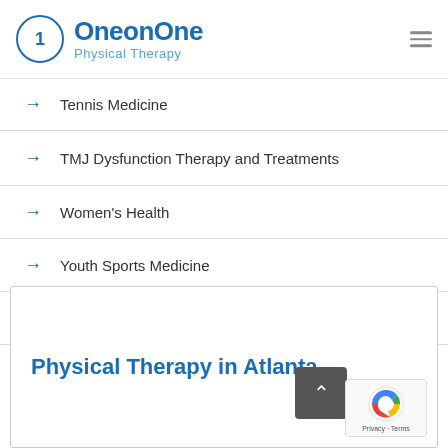[Figure (logo): OneOnOne Physical Therapy logo with circled number 1 and blue text]
Tennis Medicine
TMJ Dysfunction Therapy and Treatments
Women's Health
Youth Sports Medicine
Vestibular Rehabilitation
Physical Therapy in Atlanta